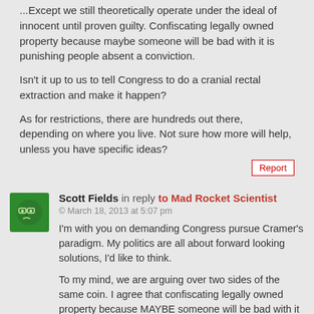...Except we still theoretically operate under the ideal of innocent until proven guilty. Confiscating legally owned property because maybe someone will be bad with it is punishing people absent a conviction.
Isn't it up to us to tell Congress to do a cranial rectal extraction and make it happen?
As for restrictions, there are hundreds out there, depending on where you live. Not sure how more will help, unless you have specific ideas?
Report
[Figure (illustration): Green avatar icon with cartoon face wearing glasses]
Scott Fields in reply to Mad Rocket Scientist
© March 18, 2013 at 5:07 pm
I'm with you on demanding Congress pursue Cramer's paradigm. My politics are all about forward looking solutions, I'd like to think.
To my mind, we are arguing over two sides of the same coin. I agree that confiscating legally owned property because MAYBE someone will be bad with it is punishing people absent a conviction. I'd hope you agree that institutionalizing someone because MAYBE they'll do...